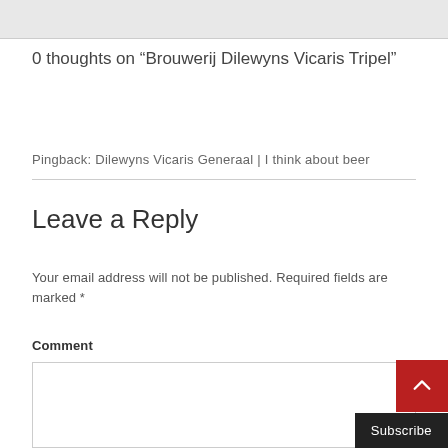[Figure (other): Gray top image/banner bar at the top of the page]
0 thoughts on “Brouwerij Dilewyns Vicaris Tripel”
Pingback: Dilewyns Vicaris Generaal | I think about beer
Leave a Reply
Your email address will not be published. Required fields are marked *
Comment